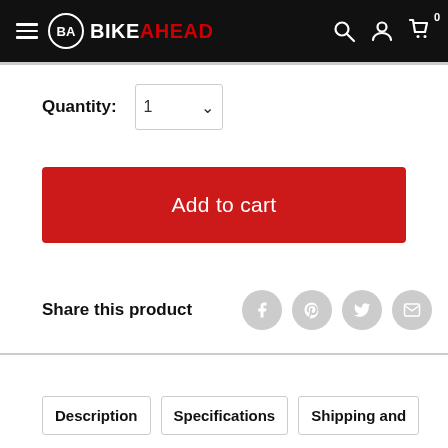BIKEAHEAD
Quantity: 1
Add to cart
Share this product
Description
Specifications
Shipping and
Payments